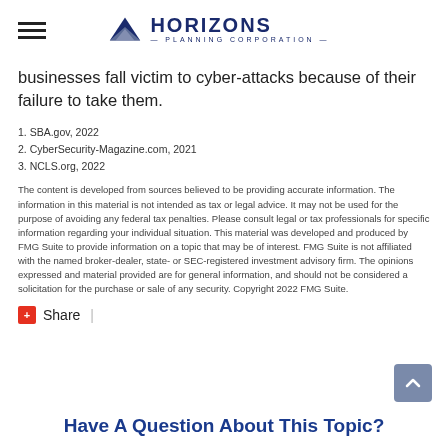Horizons Planning Corporation
businesses fall victim to cyber-attacks because of their failure to take them.
1. SBA.gov, 2022
2. CyberSecurity-Magazine.com, 2021
3. NCLS.org, 2022
The content is developed from sources believed to be providing accurate information. The information in this material is not intended as tax or legal advice. It may not be used for the purpose of avoiding any federal tax penalties. Please consult legal or tax professionals for specific information regarding your individual situation. This material was developed and produced by FMG Suite to provide information on a topic that may be of interest. FMG Suite is not affiliated with the named broker-dealer, state- or SEC-registered investment advisory firm. The opinions expressed and material provided are for general information, and should not be considered a solicitation for the purchase or sale of any security. Copyright 2022 FMG Suite.
Share  |
Have A Question About This Topic?